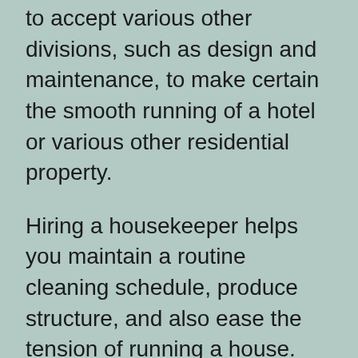to accept various other divisions, such as design and maintenance, to make certain the smooth running of a hotel or various other residential property.
Hiring a housekeeper helps you maintain a routine cleaning schedule, produce structure, and also ease the tension of running a house. Routine cleansing will certainly boost your home's total cleanliness, which is specifically vital during times when you entertain. After all, no person wants to invest their time cleaning up an unclean house, right? Maids can care for all these aspects and more while you enjoy